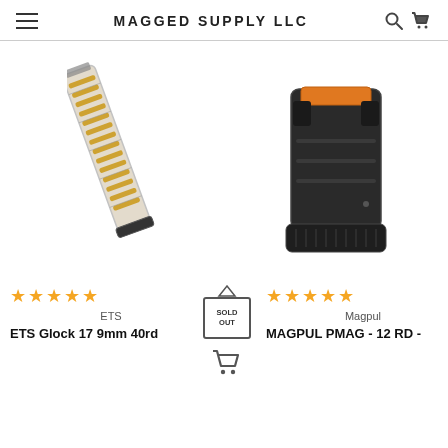MAGGED SUPPLY LLC
[Figure (photo): ETS Glock 17 9mm 40-round transparent magazine shown diagonally with visible rounds]
[Figure (photo): Magpul PMAG 12-round black polymer pistol magazine with orange follower]
ETS
Magpul
ETS Glock 17 9mm 40rd
MAGPUL PMAG - 12 RD -